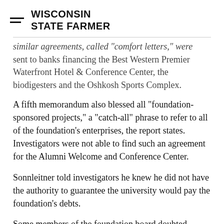WISCONSIN STATE FARMER
similar agreements, called "comfort letters," were sent to banks financing the Best Western Premier Waterfront Hotel & Conference Center, the biodigesters and the Oshkosh Sports Complex.
A fifth memorandum also blessed all "foundation-sponsored projects," a "catch-all" phrase to refer to all of the foundation's enterprises, the report states. Investigators were not able to find such an agreement for the Alumni Welcome and Conference Center.
Sonnleitner told investigators he knew he did not have the authority to guarantee the university would pay the foundation's debts.
Some members of the foundation board doubted